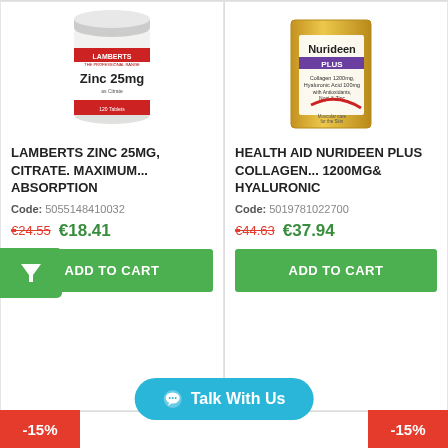[Figure (photo): Lamberts Zinc 25mg white supplement bottle with red label]
LAMBERTS ZINC 25MG, CITRATE. MAXIMUM... ABSORPTION
Code: 5055148410032
€24.55  €18.41
ADD TO CART
[Figure (photo): Health Aid Nurideen Plus Collagen 1200mg gold box supplement]
HEALTH AID NURIDEEN PLUS COLLAGEN... 1200MG& HYALURONIC
Code: 5019781022700
€44.63  €37.94
ADD TO CART
-15%
Talk With Us
-15%